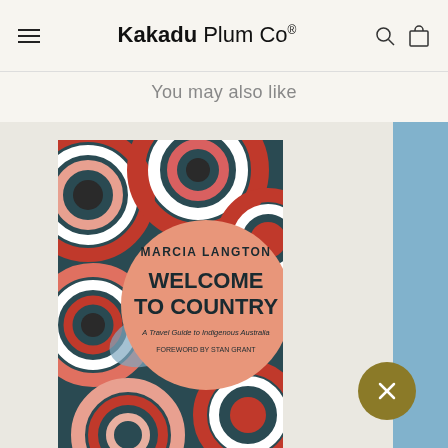Kakadu Plum Co®
You may also like
[Figure (photo): Book cover of 'Welcome to Country: A Travel Guide to Indigenous Australia' by Marcia Langton, 2nd Edition, Fully Revised and Updated, Foreword by Stan Grant. Cover features colorful concentric circle Aboriginal art on dark background with a peach/salmon circle containing the title text.]